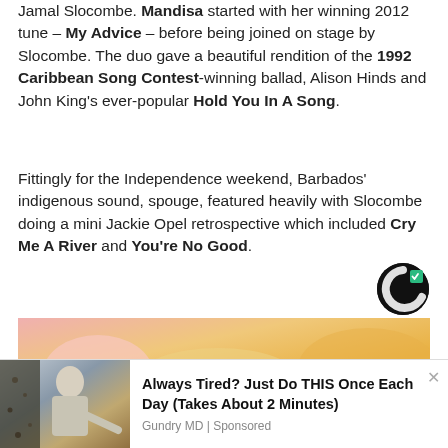Jamal Slocombe. Mandisa started with her winning 2012 tune – My Advice – before being joined on stage by Slocombe. The duo gave a beautiful rendition of the 1992 Caribbean Song Contest-winning ballad, Alison Hinds and John King's ever-popular Hold You In A Song.
Fittingly for the Independence weekend, Barbados' indigenous sound, spouge, featured heavily with Slocombe doing a mini Jackie Opel retrospective which included Cry Me A River and You're No Good.
[Figure (logo): Outbrain logo - circular C shape in dark green and teal]
[Figure (photo): Close-up photo of hands holding or touching yellow material, pinkish background]
[Figure (photo): Advertisement banner with photo of older man in suit pointing, dark food/grain background]
Always Tired? Just Do THIS Once Each Day (Takes About 2 Minutes)
Gundry MD | Sponsored